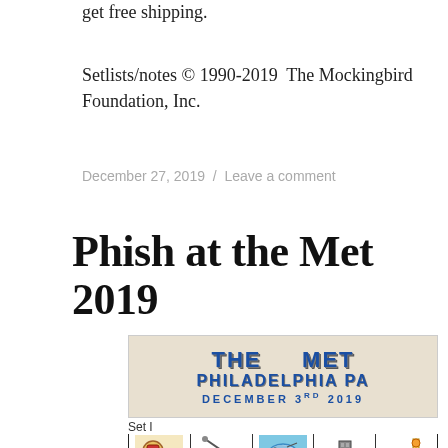get free shipping.
Setlists/notes © 1990-2019  The Mockingbird Foundation, Inc.
December 27, 2019  /  Leave a comment
Phish at the Met 2019
[Figure (illustration): Concert poster banner reading THE MET PHILADELPHIA PA DECEMBER 3RD 2019 with decorative Western-style lettering in blue, followed by a Set I row of illustrated icon cards]
Set I